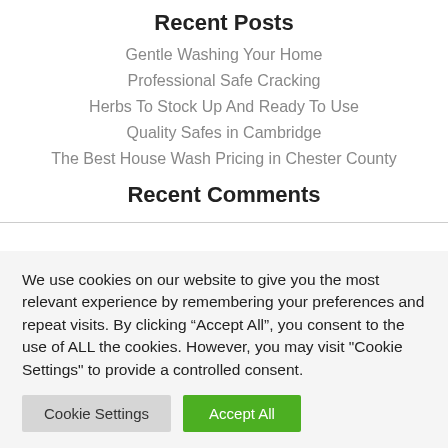Recent Posts
Gentle Washing Your Home
Professional Safe Cracking
Herbs To Stock Up And Ready To Use
Quality Safes in Cambridge
The Best House Wash Pricing in Chester County
Recent Comments
We use cookies on our website to give you the most relevant experience by remembering your preferences and repeat visits. By clicking “Accept All”, you consent to the use of ALL the cookies. However, you may visit "Cookie Settings" to provide a controlled consent.